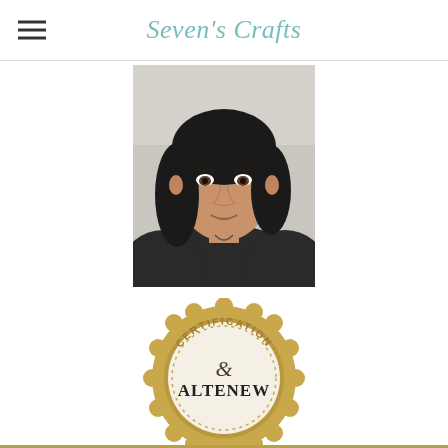Seven's Crafts
[Figure (photo): Portrait photo of a woman with dark hair, looking at the camera, wearing a dark top]
[Figure (logo): Altenew Certification badge - gold scalloped circular badge with 'CERTIFICATION' text along the top arc and 'ALTENEW' text in the center with decorative ampersand]